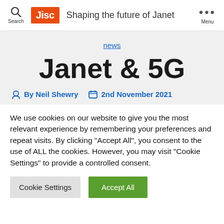Jisc  Shaping the future of Janet  Search  Menu
news
Janet & 5G
By Neil Shewry  2nd November 2021
We use cookies on our website to give you the most relevant experience by remembering your preferences and repeat visits. By clicking "Accept All", you consent to the use of ALL the cookies. However, you may visit "Cookie Settings" to provide a controlled consent.
Cookie Settings  Accept All